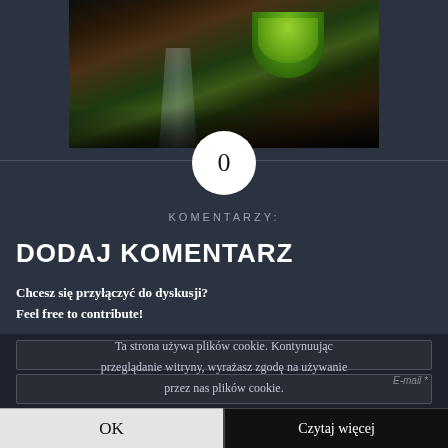[Figure (photo): Photo of bar drinks with a lime half and a tall glass on a dark wooden surface]
0
KOMENTARZY:
DODAJ KOMENTARZ
Chcesz się przyłączyć do dyskusji?
Feel free to contribute!
Ta strona używa plików cookie. Kontynuując przeglądanie witryny, wyrażasz zgodę na używanie przez nas plików cookie.
E-mail *
OK
Czytaj więcej